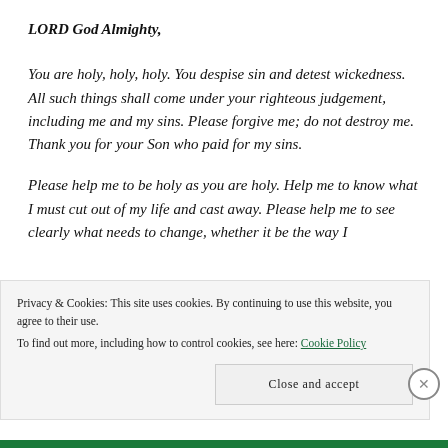LORD God Almighty,
You are holy, holy, holy. You despise sin and detest wickedness. All such things shall come under your righteous judgement, including me and my sins. Please forgive me; do not destroy me. Thank you for your Son who paid for my sins.
Please help me to be holy as you are holy. Help me to know what I must cut out of my life and cast away. Please help me to see clearly what needs to change, whether it be the way I
Privacy & Cookies: This site uses cookies. By continuing to use this website, you agree to their use.
To find out more, including how to control cookies, see here: Cookie Policy
Close and accept